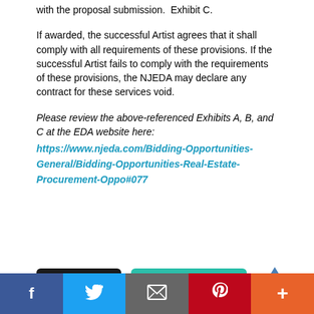with the proposal submission.  Exhibit C.
If awarded, the successful Artist agrees that it shall comply with all requirements of these provisions. If the successful Artist fails to comply with the requirements of these provisions, the NJEDA may declare any contract for these services void.
Please review the above-referenced Exhibits A, B, and C at the EDA website here: https://www.njeda.com/Bidding-Opportunities-General/Bidding-Opportunities-Real-Estate-Procurement-Oppo#077
[Figure (screenshot): Print this Page and View Legal Agreement buttons, and an upward arrow icon]
[Figure (infographic): Social media sharing bar with Facebook, Twitter, Email, Pinterest, and More buttons]